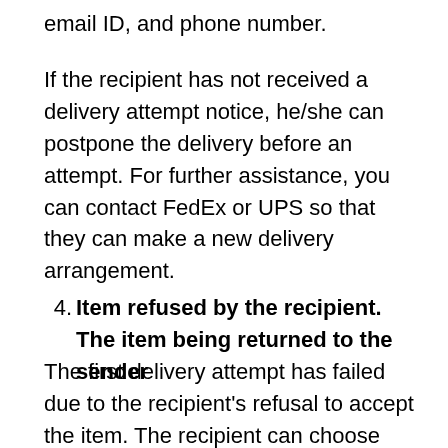email ID, and phone number.
If the recipient has not received a delivery attempt notice, he/she can postpone the delivery before an attempt. For further assistance, you can contact FedEx or UPS so that they can make a new delivery arrangement.
4. Item refused by the recipient. The item being returned to the sender
The first delivery attempt has failed due to the recipient's refusal to accept the item. The recipient can choose from four delivery change options: Will call, Delivery to a different